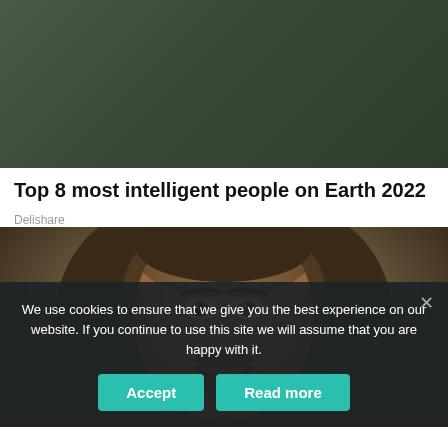[Figure (photo): Person in white shirt sitting in front of a chalkboard, cropped from shoulders up]
Top 8 most intelligent people on Earth 2022
Delishare
[Figure (photo): Close-up portrait of a person with long brown hair and beard, painted/illustrated style]
We use cookies to ensure that we give you the best experience on our website. If you continue to use this site we will assume that you are happy with it.